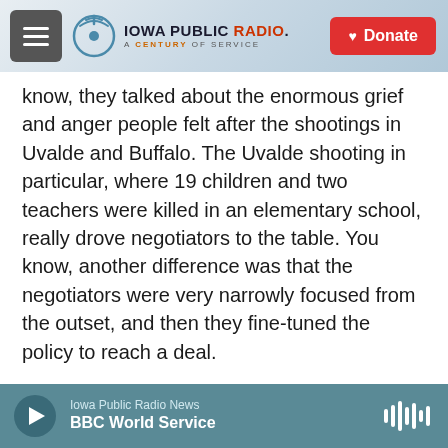Iowa Public Radio — A Century of Service | Donate
know, they talked about the enormous grief and anger people felt after the shootings in Uvalde and Buffalo. The Uvalde shooting in particular, where 19 children and two teachers were killed in an elementary school, really drove negotiators to the table. You know, another difference was that the negotiators were very narrowly focused from the outset, and then they fine-tuned the policy to reach a deal.
Now, the bill includes expanded background checks for gun buyers under 21, with potentially longer waiting periods for those buyers. There are new
Iowa Public Radio News — BBC World Service